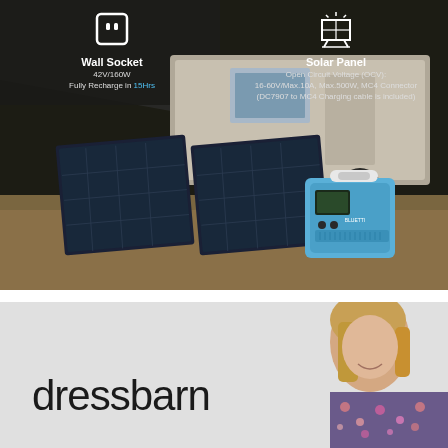[Figure (photo): Product photo showing solar panels connected to a portable power station (BLUETTI brand, blue color) outdoors near a caravan/trailer. Overlaid with two icon sections: Wall Socket (42V/160W, Fully Recharge in 15Hrs) and Solar Panel (Open Circuit Voltage (OCV): 16-60V/Max.10A, Max.500W, MC4 Connector, DC7907 to MC4 Charging cable is included).]
[Figure (photo): Dressbarn advertisement showing logo text 'dressbarn' on light grey background with partial photo of a smiling woman with blonde hair wearing a floral top.]